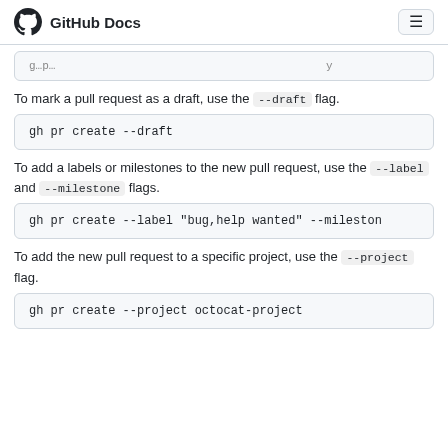GitHub Docs
(truncated code box — partial text visible)
To mark a pull request as a draft, use the --draft flag.
gh pr create --draft
To add a labels or milestones to the new pull request, use the --label and --milestone flags.
gh pr create --label "bug,help wanted" --milestone
To add the new pull request to a specific project, use the --project flag.
gh pr create --project octocat-project